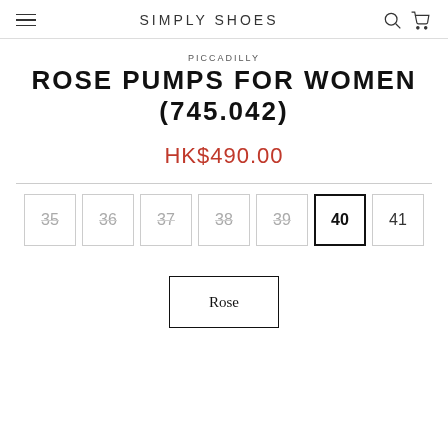SIMPLY SHOES
PICCADILLY
ROSE PUMPS FOR WOMEN (745.042)
HK$490.00
35 36 37 38 39 40 41
Rose